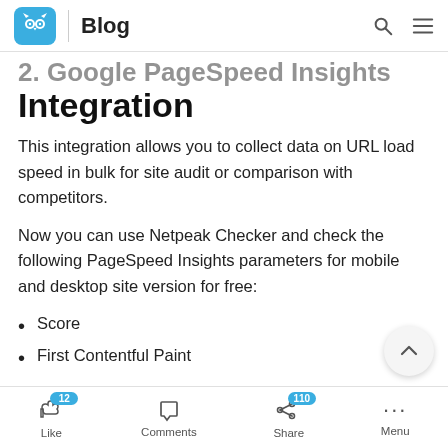Blog
Integration
This integration allows you to collect data on URL load speed in bulk for site audit or comparison with competitors.
Now you can use Netpeak Checker and check the following PageSpeed Insights parameters for mobile and desktop site version for free:
Score
First Contentful Paint
Like 12  Comments  Share 110  Menu